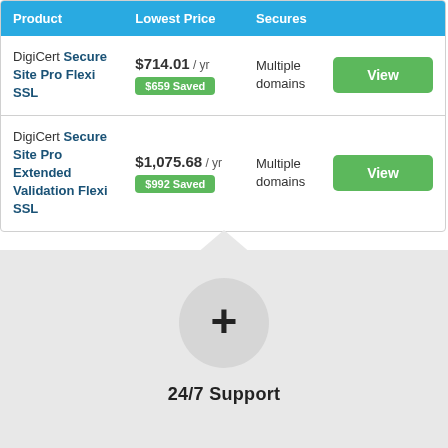| Product | Lowest Price | Secures |
| --- | --- | --- |
| DigiCert Secure Site Pro Flexi SSL | $714.01 / yr
$659 Saved | Multiple domains |
| DigiCert Secure Site Pro Extended Validation Flexi SSL | $1,075.68 / yr
$992 Saved | Multiple domains |
[Figure (illustration): A plus/cross icon inside a circle on a light gray background with a chevron/arrow pointing up, indicating expandable support section]
24/7 Support